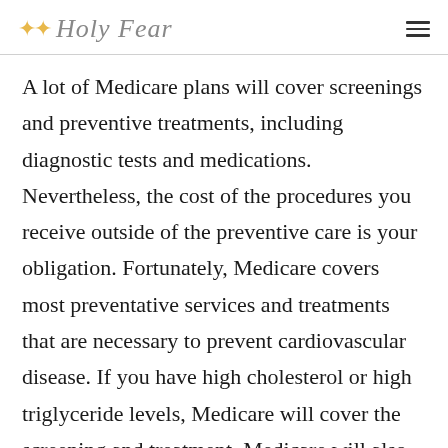Holy Fear
A lot of Medicare plans will cover screenings and preventive treatments, including diagnostic tests and medications. Nevertheless, the cost of the procedures you receive outside of the preventive care is your obligation. Fortunately, Medicare covers most preventative services and treatments that are necessary to prevent cardiovascular disease. If you have high cholesterol or high triglyceride levels, Medicare will cover the screening and treatment. Medicare will also cover your